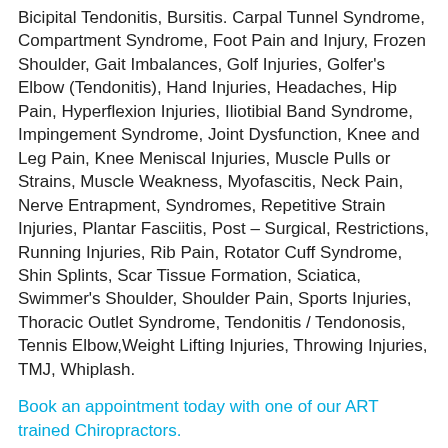Bicipital Tendonitis, Bursitis. Carpal Tunnel Syndrome, Compartment Syndrome, Foot Pain and Injury, Frozen Shoulder, Gait Imbalances, Golf Injuries, Golfer's Elbow (Tendonitis), Hand Injuries, Headaches, Hip Pain, Hyperflexion Injuries, Iliotibial Band Syndrome, Impingement Syndrome, Joint Dysfunction, Knee and Leg Pain, Knee Meniscal Injuries, Muscle Pulls or Strains, Muscle Weakness, Myofascitis, Neck Pain, Nerve Entrapment, Syndromes, Repetitive Strain Injuries, Plantar Fasciitis, Post – Surgical, Restrictions, Running Injuries, Rib Pain, Rotator Cuff Syndrome, Shin Splints, Scar Tissue Formation, Sciatica, Swimmer's Shoulder, Shoulder Pain, Sports Injuries, Thoracic Outlet Syndrome, Tendonitis / Tendonosis, Tennis Elbow,Weight Lifting Injuries, Throwing Injuries, TMJ, Whiplash.
Book an appointment today with one of our ART trained Chiropractors.